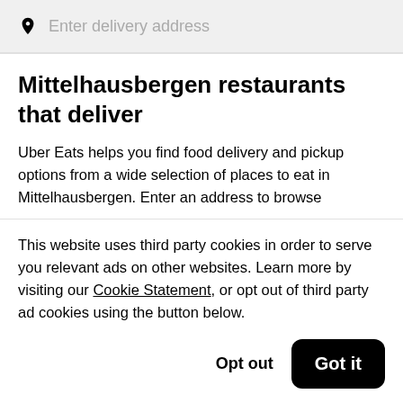Enter delivery address
Mittelhausbergen restaurants that deliver
Uber Eats helps you find food delivery and pickup options from a wide selection of places to eat in Mittelhausbergen. Enter an address to browse
This website uses third party cookies in order to serve you relevant ads on other websites. Learn more by visiting our Cookie Statement, or opt out of third party ad cookies using the button below.